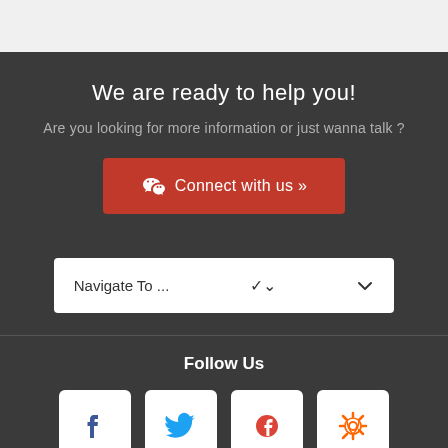We are ready to help you!
Are you looking for more information or just wanna talk ?
Connect with us »
Navigate To ...
Follow Us
[Figure (illustration): Social media icons: Facebook, Twitter, Google+, RSS feed]